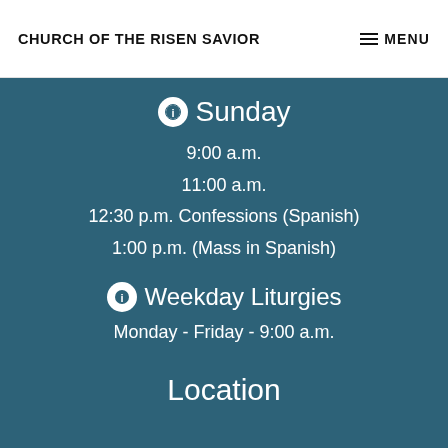CHURCH OF THE RISEN SAVIOR
Sunday
9:00 a.m.
11:00 a.m.
12:30 p.m. Confessions (Spanish)
1:00 p.m. (Mass in Spanish)
Weekday Liturgies
Monday - Friday - 9:00 a.m.
Location